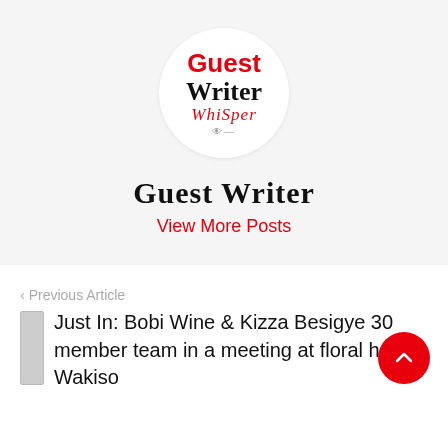[Figure (logo): Guest Writer Whisper logo inside a white circle — 'Guest' in red bold sans-serif, 'Writer' in black bold serif, 'WhiSper' in red italic serif with a stylized eye below]
Guest Writer
View More Posts
‹ Previous Article
Just In: Bobi Wine & Kizza Besigye 30 member team in a meeting at floral hotel, Wakiso